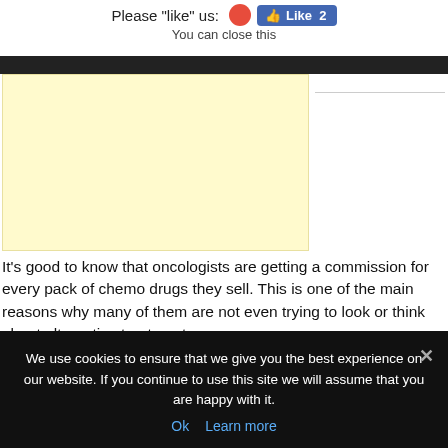Please "like" us: [Facebook Like button - Like 2] You can close this
[Figure (other): Yellow advertisement placeholder box]
It's good to know that oncologists are getting a commission for every pack of chemo drugs they sell. This is one of the main reasons why many of them are not even trying to look or think about alternative treatments.
We use cookies to ensure that we give you the best experience on our website. If you continue to use this site we will assume that you are happy with it. Ok Learn more